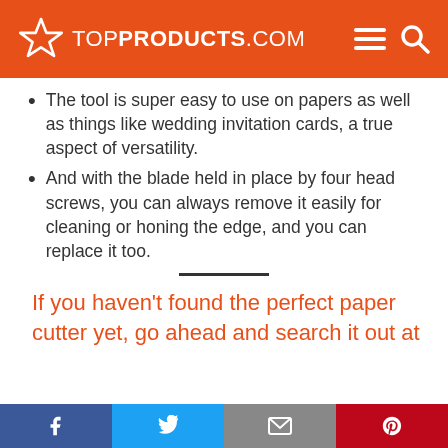TOPPRODUCTS.COM
The tool is super easy to use on papers as well as things like wedding invitation cards, a true aspect of versatility.
And with the blade held in place by four head screws, you can always remove it easily for cleaning or honing the edge, and you can replace it too.
If you haven't found the perfect paper cutter yet, go ahead and search it out at
Facebook | Twitter | Email | Pinterest